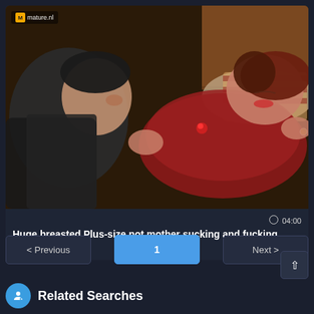[Figure (photo): Thumbnail image of a video showing two people on a bed, one wearing a red top, with a watermark logo in the top-left corner reading 'mature.nl']
04:00
Huge breasted Plus-size not mother sucking and fucking young cock
< Previous
1
Next >
Related Searches